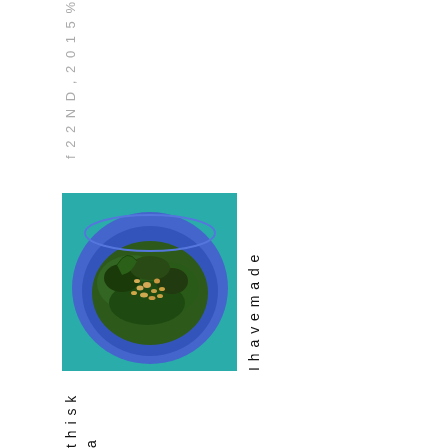f 2 2 N D , 2 0 1 5 %
[Figure (photo): A blue bowl containing a green kale salad topped with pine nuts, placed on a teal/turquoise woven placemat]
I have made e
t h i s k a